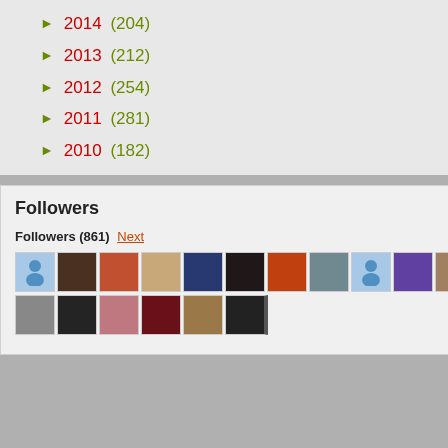► 2014 (204)
► 2013 (212)
► 2012 (254)
► 2011 (281)
► 2010 (182)
Followers
Followers (861) Next
[Figure (photo): Grid of follower profile photos and avatars, two rows of thumbnail images]